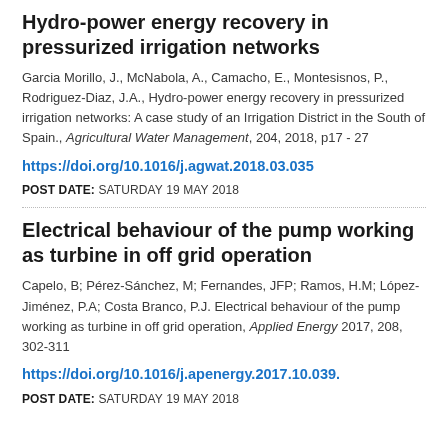Hydro-power energy recovery in pressurized irrigation networks
Garcia Morillo, J., McNabola, A., Camacho, E., Montesisnos, P., Rodriguez-Diaz, J.A., Hydro-power energy recovery in pressurized irrigation networks: A case study of an Irrigation District in the South of Spain., Agricultural Water Management, 204, 2018, p17 - 27
https://doi.org/10.1016/j.agwat.2018.03.035
POST DATE: SATURDAY 19 MAY 2018
Electrical behaviour of the pump working as turbine in off grid operation
Capelo, B; Pérez-Sánchez, M; Fernandes, JFP; Ramos, H.M; López-Jiménez, P.A; Costa Branco, P.J. Electrical behaviour of the pump working as turbine in off grid operation, Applied Energy 2017, 208, 302-311
https://doi.org/10.1016/j.apenergy.2017.10.039.
POST DATE: SATURDAY 19 MAY 2018